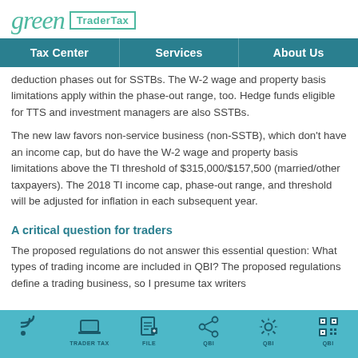green TraderTax
Tax Center | Services | About Us
deduction phases out for SSTBs. The W-2 wage and property basis limitations apply within the phase-out range, too. Hedge funds eligible for TTS and investment managers are also SSTBs.
The new law favors non-service business (non-SSTB), which don't have an income cap, but do have the W-2 wage and property basis limitations above the TI threshold of $315,000/$157,500 (married/other taxpayers). The 2018 TI income cap, phase-out range, and threshold will be adjusted for inflation in each subsequent year.
A critical question for traders
The proposed regulations do not answer this essential question: What types of trading income are included in QBI? The proposed regulations define a trading business, so I presume tax writers
TRADER TAX   FILE   QBI   QBI